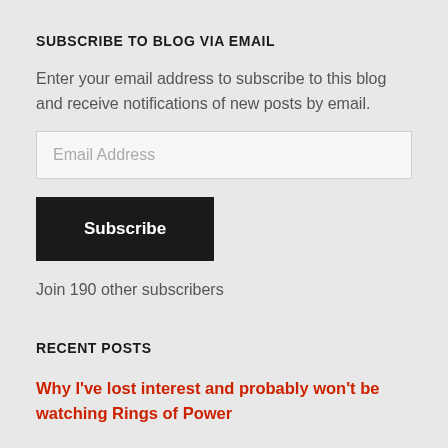SUBSCRIBE TO BLOG VIA EMAIL
Enter your email address to subscribe to this blog and receive notifications of new posts by email.
Email Address
Subscribe
Join 190 other subscribers
RECENT POSTS
Why I've lost interest and probably won't be watching Rings of Power